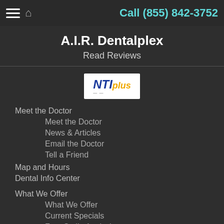Call (855) 842-3752
A.I.R. Dentalplex
Read Reviews
[Figure (logo): NTI plus logo — blue bold italic NTI text with yellow italic 'plus' text on white background]
Meet the Doctor
Meet the Doctor
News & Articles
Email the Doctor
Tell a Friend
Map and Hours
Dental Info Center
What We Offer
What We Offer
Current Specials
Free Smile Analysis
Convenient Financial Terms
Dental Insurance
Post Treatment Instructions